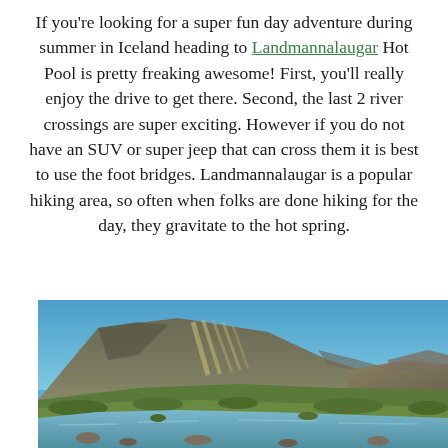If you're looking for a super fun day adventure during summer in Iceland heading to Landmannalaugar Hot Pool is pretty freaking awesome! First, you'll really enjoy the drive to get there. Second, the last 2 river crossings are super exciting. However if you do not have an SUV or super jeep that can cross them it is best to use the foot bridges. Landmannalaugar is a popular hiking area, so often when folks are done hiking for the day, they gravitate to the hot spring.
[Figure (photo): Landscape photo of Landmannalaugar, Iceland, showing a rocky mountain with colorful mineral streaks, green vegetation, blue sky, and a shallow river or hot spring in the foreground.]